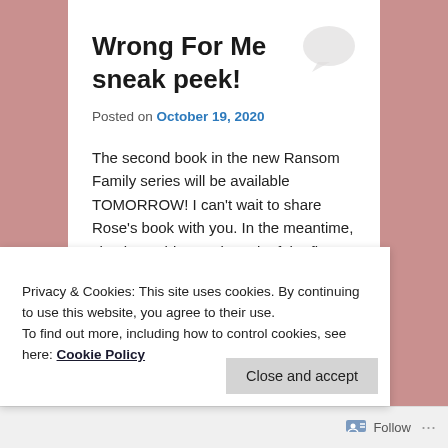Wrong For Me sneak peek!
Posted on October 19, 2020
The second book in the new Ransom Family series will be available TOMORROW! I can't wait to share Rose's book with you. In the meantime, check out this sneak peek of the first chapter.
Preorder Wrong For Me now!
Privacy & Cookies: This site uses cookies. By continuing to use this website, you agree to their use.
To find out more, including how to control cookies, see here: Cookie Policy
Close and accept